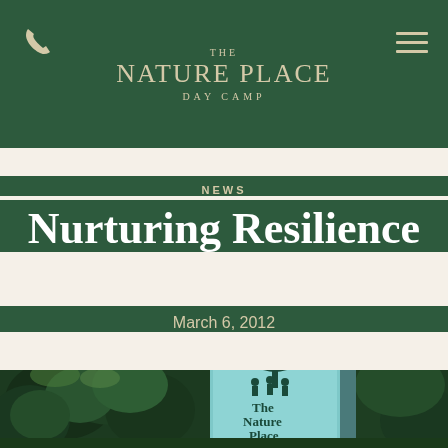THE NATURE PLACE DAY CAMP
NEWS
Nurturing Resilience
March 6, 2012
[Figure (photo): Outdoor photo showing The Nature Place camp sign — a light blue rounded-rectangle sign with a tree and children silhouette logo and text 'The Nature Place', set against a background of green trees and foliage.]